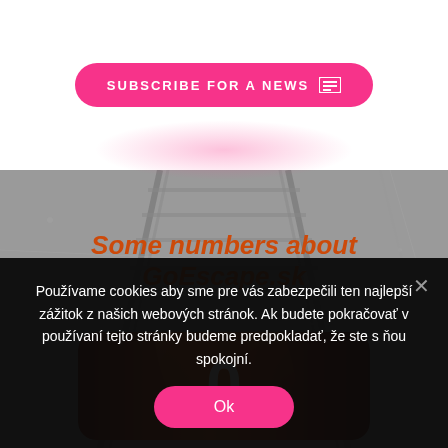[Figure (screenshot): Pink rounded button labeled SUBSCRIBE FOR A NEWS with a newspaper icon, on white background]
Some numbers about GoEscape.sk
[Figure (screenshot): Orange/amber glossy card with the number 0 displayed in white large font, on a gray textured railway track background]
Používame cookies aby sme pre vás zabezpečili ten najlepší zážitok z našich webových stránok. Ak budete pokračovať v používaní tejto stránky budeme predpokladať, že ste s ňou spokojní.
[Figure (screenshot): Pink rounded Ok button in cookie consent banner]